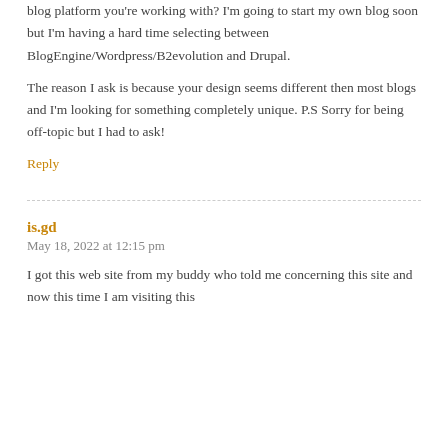blog platform you're working with? I'm going to start my own blog soon but I'm having a hard time selecting between BlogEngine/Wordpress/B2evolution and Drupal.
The reason I ask is because your design seems different then most blogs and I'm looking for something completely unique. P.S Sorry for being off-topic but I had to ask!
Reply
is.gd
May 18, 2022 at 12:15 pm
I got this web site from my buddy who told me concerning this site and now this time I am visiting this